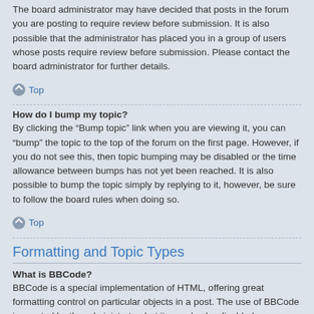The board administrator may have decided that posts in the forum you are posting to require review before submission. It is also possible that the administrator has placed you in a group of users whose posts require review before submission. Please contact the board administrator for further details.
Top
How do I bump my topic?
By clicking the “Bump topic” link when you are viewing it, you can “bump” the topic to the top of the forum on the first page. However, if you do not see this, then topic bumping may be disabled or the time allowance between bumps has not yet been reached. It is also possible to bump the topic simply by replying to it, however, be sure to follow the board rules when doing so.
Top
Formatting and Topic Types
What is BBCode?
BBCode is a special implementation of HTML, offering great formatting control on particular objects in a post. The use of BBCode is granted by the administrator, but it can also be disabled on a per post basis from the posting form. BBCode itself is similar in style to HTML, but tags are enclosed in square brackets [ and ] rather than < and >. For more information on BBCode see the guide which can be accessed from the posting page.
Top